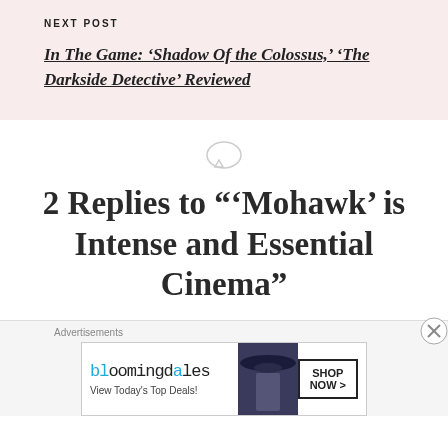NEXT POST
In The Game: ‘Shadow Of the Colossus,’ ‘The Darkside Detective’ Reviewed
2 Replies to “‘Mohawk’ is Intense and Essential Cinema”
[Figure (other): Advertisement banner for Bloomingdale's showing logo, woman in hat, and Shop Now button]
Advertisements